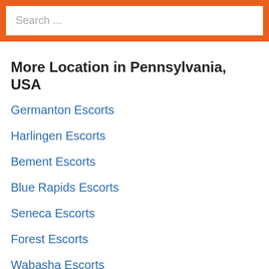[Figure (other): Search input box with orange border/background and placeholder text 'Search ...']
More Location in Pennsylvania, USA
Germanton Escorts
Harlingen Escorts
Bement Escorts
Blue Rapids Escorts
Seneca Escorts
Forest Escorts
Wabasha Escorts